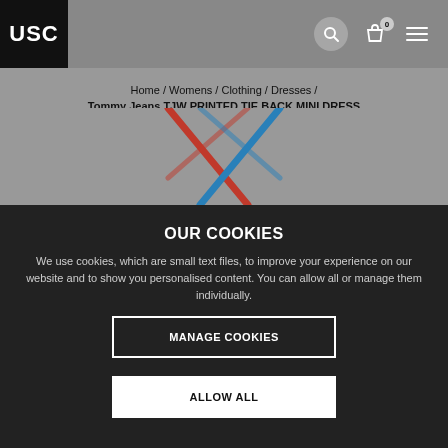USC
Home / Womens / Clothing / Dresses / Tommy Jeans TJW PRINTED TIE BACK MINI DRESS
[Figure (photo): Top portion of a Tommy Jeans TJW PRINTED TIE BACK MINI DRESS shown from behind on a grey background, showing colourful tie straps forming a V shape at the back.]
OUR COOKIES
We use cookies, which are small text files, to improve your experience on our website and to show you personalised content. You can allow all or manage them individually.
MANAGE COOKIES
ALLOW ALL